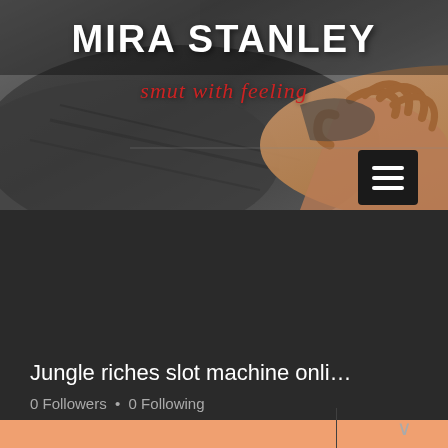[Figure (photo): Website header banner with dark atmospheric photo background showing a hand gripping fabric, with site name and tagline overlaid]
MIRA STANLEY
smut with feeling
[Figure (screenshot): Hamburger menu icon button (three white lines) on black square background in upper right of banner]
[Figure (infographic): Salmon/orange profile band with Follow button, three-dot menu, and circular avatar with letter J]
Jungle riches slot machine onli…
0 Followers • 0 Following